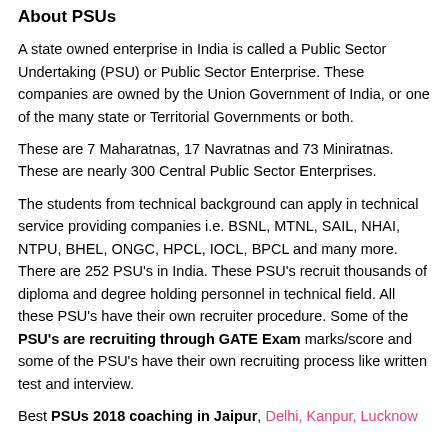About PSUs
A state owned enterprise in India is called a Public Sector Undertaking (PSU) or Public Sector Enterprise. These companies are owned by the Union Government of India, or one of the many state or Territorial Governments or both.
These are 7 Maharatnas, 17 Navratnas and 73 Miniratnas. These are nearly 300 Central Public Sector Enterprises.
The students from technical background can apply in technical service providing companies i.e. BSNL, MTNL, SAIL, NHAI, NTPU, BHEL, ONGC, HPCL, IOCL, BPCL and many more. There are 252 PSU's in India. These PSU's recruit thousands of diploma and degree holding personnel in technical field. All these PSU's have their own recruiter procedure. Some of the PSU's are recruiting through GATE Exam marks/score and some of the PSU's have their own recruiting process like written test and interview.
Best PSUs 2018 coaching in Jaipur, Delhi, Kanpur, Lucknow